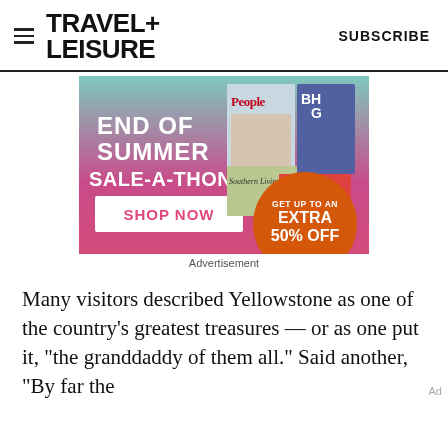TRAVEL+ LEISURE   SUBSCRIBE
[Figure (advertisement): End of Summer Sale-A-Thon advertisement with magazine covers (People, Southern Living, BH&G, allrecipes) and orange circle saying GET UP TO AN EXTRA 50% OFF, with SHOP NOW button]
Advertisement
Many visitors described Yellowstone as one of the country's greatest treasures — or as one put it, "the granddaddy of them all." Said another, "By far the